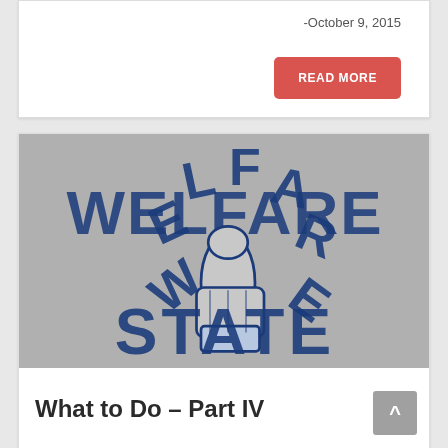-October 9, 2015
READ MORE
[Figure (illustration): Gray background image with bold blue distressed collegiate-style text reading 'WELFARE STATE' arched above and below a thumbs-up hand illustration in blue outline style]
What to Do – Part IV